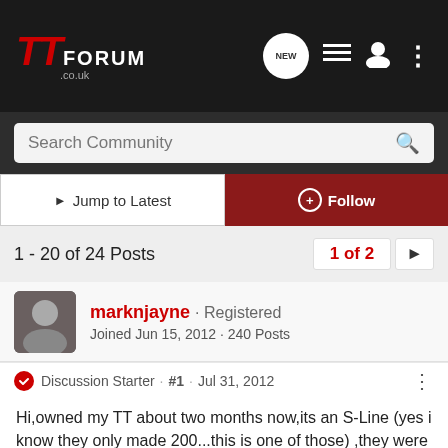TT FORUM .co.uk
Search Community
Jump to Latest | Follow
1 - 20 of 24 Posts | 1 of 2
marknjayne · Registered
Joined Jun 15, 2012 · 240 Posts
Discussion Starter · #1 · Jul 31, 2012
Hi,owned my TT about two months now,its an S-Line (yes i know they only made 200...this is one of those) ,they were called Le-Mans TT for the american market and S-Line here in the UK...anyway...i have owned all sorts of cars from 550 bhp skylines to AMG mercs etc...swapped a 350z for this TT and have totally fallen for it so its getting the treatment...just put